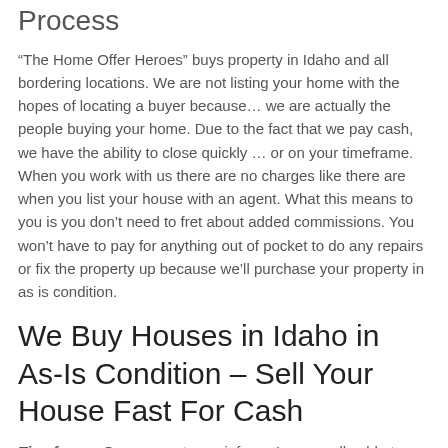Process
“The Home Offer Heroes” buys property in Idaho and all bordering locations. We are not listing your home with the hopes of locating a buyer because… we are actually the people buying your home. Due to the fact that we pay cash, we have the ability to close quickly … or on your timeframe. When you work with us there are no charges like there are when you list your house with an agent. What this means to you is you don’t need to fret about added commissions. You won’t have to pay for anything out of pocket to do any repairs or fix the property up because we’ll purchase your property in as is condition.
We Buy Houses in Idaho in As-Is Condition – Sell Your House Fast For Cash
Timeframe: Once we get your info, we’re normally able to make you a reasonable cash offer within 12